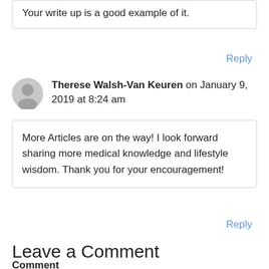Your write up is a good example of it.
Reply
Therese Walsh-Van Keuren on January 9, 2019 at 8:24 am
More Articles are on the way! I look forward sharing more medical knowledge and lifestyle wisdom. Thank you for your encouragement!
Reply
Leave a Comment
Comment